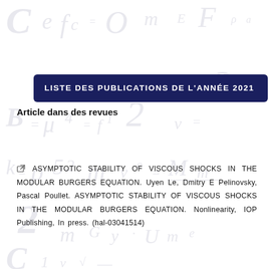LISTE DES PUBLICATIONS DE L'ANNÉE 2021
Article dans des revues
ASYMPTOTIC STABILITY OF VISCOUS SHOCKS IN THE MODULAR BURGERS EQUATION. Uyen Le, Dmitry E Pelinovsky, Pascal Poullet. ASYMPTOTIC STABILITY OF VISCOUS SHOCKS IN THE MODULAR BURGERS EQUATION. Nonlinearity, IOP Publishing, In press. (hal-03041514)